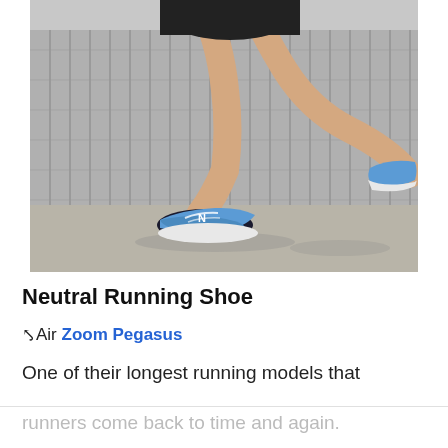[Figure (photo): A runner in motion wearing blue running shoes (New Balance), black shorts, running past a metal chain-link/grate fence on a concrete sidewalk. Photo shows legs mid-stride with blue sneakers prominent.]
Neutral Running Shoe
⚓Air Zoom Pegasus
One of their longest running models that
runners come back to time and again.